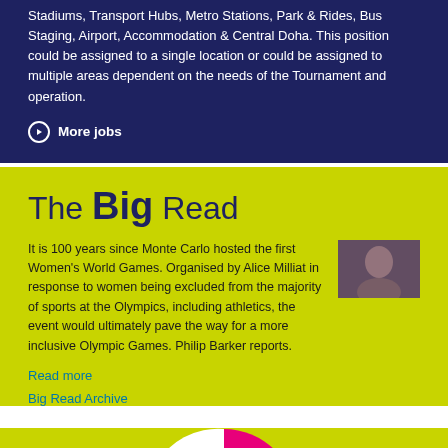Stadiums, Transport Hubs, Metro Stations, Park & Rides, Bus Staging, Airport, Accommodation & Central Doha. This position could be assigned to a single location or could be assigned to multiple areas dependent on the needs of the Tournament and operation.
More jobs
The Big Read
It is 100 years since Monte Carlo hosted the first Women's World Games. Organised by Alice Milliat in response to women being excluded from the majority of sports at the Olympics, including athletics, the event would ultimately pave the way for a more inclusive Olympic Games. Philip Barker reports.
[Figure (photo): Thumbnail photo of a person, likely a historical figure related to the Women's World Games article]
Read more
Big Read Archive
[Figure (pie-chart): Partial pie chart with pink/magenta slice and white slice, shown cropped at bottom of page]